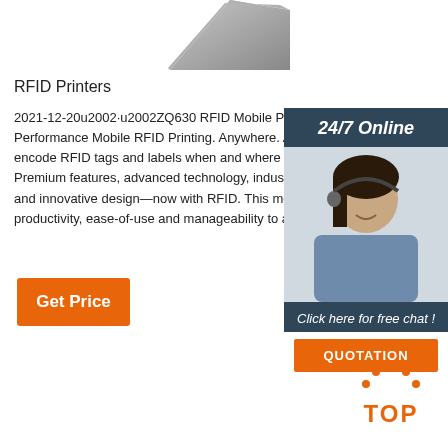[Figure (photo): Partial view of an RFID printer device, silver/grey color, top portion visible]
RFID Printers
2021-12-20u2002·u2002ZQ630 RFID Mobile Printer. Performance Mobile RFID Printing. Anywhere. Anytime. encode RFID tags and labels when and where you need. Premium features, advanced technology, industry-le and innovative design—now with RFID. This mobile productivity, ease-of-use and manageability to a new
[Figure (photo): Customer service woman wearing headset, smiling, with '24/7 Online' header and 'Click here for free chat!' text and QUOTATION button on dark blue background]
[Figure (other): Get Price orange button]
[Figure (other): TOP navigation button with orange dots forming an upward arrow and orange TOP text]